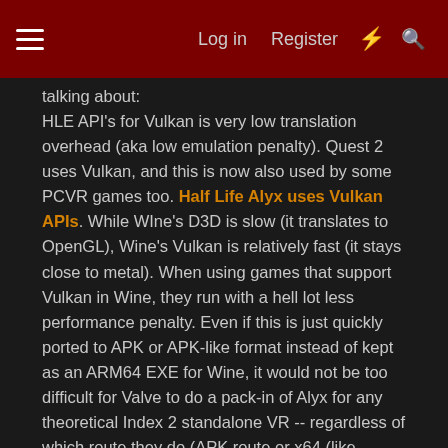Log in  Register
talking about:
HLE API's for Vulkan is very low translation overhead (aka low emulation penalty). Quest 2 uses Vulkan, and this is now also used by some PCVR games too. Half Life Alyx uses Vulkan APIs. While WIne's D3D is slow (it translates to OpenGL), Wine's Vulkan is relatively fast (it stays close to metal). When using games that support Vulkan in Wine, they run with a hell lot less performance penalty. Even if this is just quickly ported to APK or APK-like format instead of kept as an ARM64 EXE for Wine, it would not be too difficult for Valve to do a pack-in of Alyx for any theoretical Index 2 standalone VR -- regardless of which route they do (APK route or x64 (like Steam Deck) or ARM64 EXE or ARM64 Linux binary route)
We need more competition, but if we're speaking of "likelihoods" instead of "wants", it's quite obvious this will be an irresistible "new app store market" for Valve.
The bottom line is Valve clearly appears to have a lot of